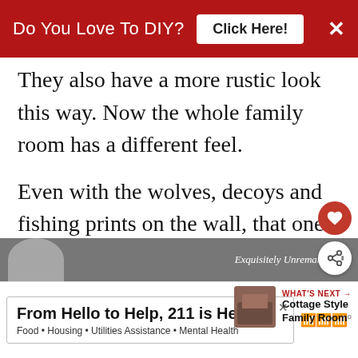Do You Love To DIY? Click Here!
They also have a more rustic look this way. Now the whole family room has a different feel.
Even with the wolves, decoys and fishing prints on the wall, that one swap took the room from "lodge cottage" to "garden cottage" in no time flat.
WHAT'S NEXT → Cottage Style Family Room
Exquisitely Unremarkable
From Hello to Help, 211 is Here  Food • Housing • Utilities Assistance • Mental Health